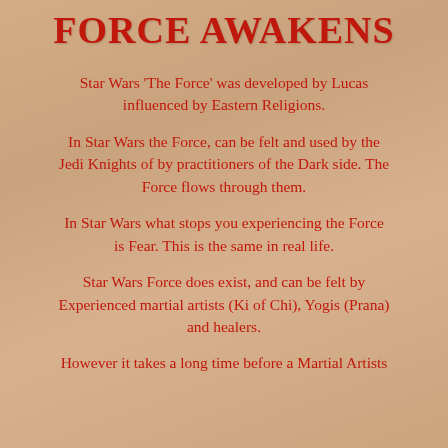FORCE AWAKENS
Star Wars 'The Force' was developed by Lucas influenced by Eastern Religions.
In Star Wars the Force, can be felt and used by the Jedi Knights of by practitioners of the Dark side. The Force flows through them.
In Star Wars what stops you experiencing the Force is Fear. This is the same in real life.
Star Wars Force does exist, and can be felt by Experienced martial artists (Ki of Chi), Yogis (Prana) and healers.
However it takes a long time before a Martial Artists